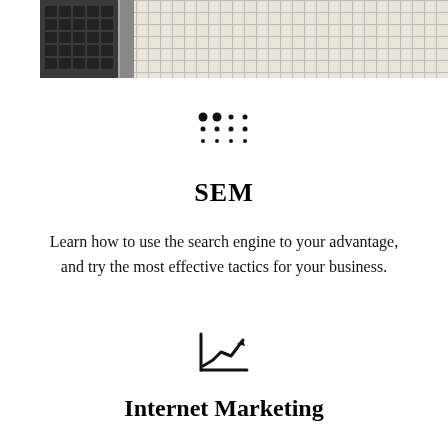[Figure (photo): Top portion of a laptop keyboard on a grid-paper background, viewed from above, with a pencil beside it.]
[Figure (other): Decorative dot-grid icon (six dots arranged in a 3x2 pattern with spacing, resembling a drag handle or section divider).]
SEM
Learn how to use the search engine to your advantage, and try the most effective tactics for your business.
[Figure (other): Trending line chart icon — a small inline chart symbol showing an upward trending line with an axis.]
Internet Marketing